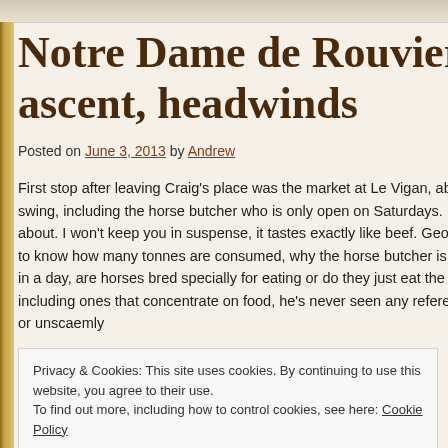Notre Dame de Rouviere to ascent, headwinds
Posted on June 3, 2013 by Andrew
First stop after leaving Craig's place was the market at Le Vigan, abo swing, including the horse butcher who is only open on Saturdays. I s about. I won't keep you in suspense, it tastes exactly like beef. Geor to know how many tonnes are consumed, why the horse butcher is s in a day, are horses bred specially for eating or do they just eat the o including ones that concentrate on food, he's never seen any referer or unscaemly
Privacy & Cookies: This site uses cookies. By continuing to use this website, you agree to their use.
To find out more, including how to control cookies, see here: Cookie Policy
Close and accept
One stretch of road on our first climb was particularly traffic free as th